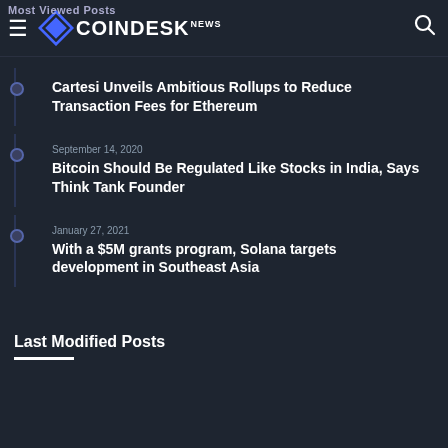CoinDesk News
Most Viewed Posts
Cartesi Unveils Ambitious Rollups to Reduce Transaction Fees for Ethereum
September 14, 2020
Bitcoin Should Be Regulated Like Stocks in India, Says Think Tank Founder
January 27, 2021
With a $5M grants program, Solana targets development in Southeast Asia
Last Modified Posts